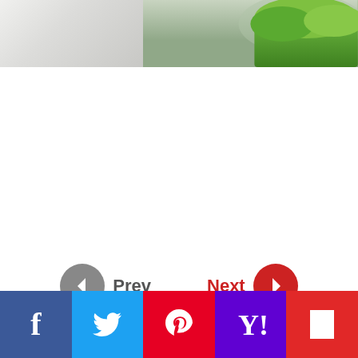[Figure (photo): Partial landscape photo at top of page showing sky, mountains and green trees on the right side]
[Figure (infographic): Navigation buttons: gray circle with left chevron and 'Prev' label, red circle with right chevron and 'Next' label in red text]
[Figure (infographic): Social media sharing bar with 5 buttons: Facebook (blue), Twitter (light blue), Pinterest (red), Yahoo (purple), Flipboard (red)]